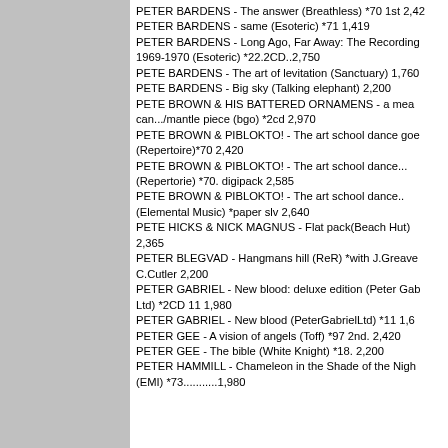PETER BARDENS - The answer (Breathless) *70 1st 2,420
PETER BARDENS - same (Esoteric) *71 1,419
PETER BARDENS - Long Ago, Far Away: The Recordings 1969-1970 (Esoteric) *22.2CD..2,750
PETE BARDENS - The art of levitation (Sanctuary) 1,760
PETE BARDENS - Big sky (Talking elephant) 2,200
PETE BROWN & HIS BATTERED ORNAMENS - a mea can.../mantle piece (bgo) *2cd 2,970
PETE BROWN & PIBLOKTO! - The art school dance goe (Repertoire)*70 2,420
PETE BROWN & PIBLOKTO! - The art school dance... (Repertorie) *70. digipack 2,585
PETE BROWN & PIBLOKTO! - The art school dance.. (Elemental Music) *paper slv 2,640
PETE HICKS & NICK MAGNUS - Flat pack(Beach Hut) 2,365
PETER BLEGVAD - Hangmans hill (ReR) *with J.Greave C.Cutler 2,200
PETER GABRIEL - New blood: deluxe edition (Peter Gab Ltd) *2CD 11 1,980
PETER GABRIEL - New blood (PeterGabrielLtd) *11 1,6
PETER GEE - A vision of angels (Toff) *97 2nd. 2,420
PETER GEE - The bible (White Knight) *18. 2,200
PETER HAMMILL - Chameleon in the Shade of the Nigh (EMI) *73...........1,980